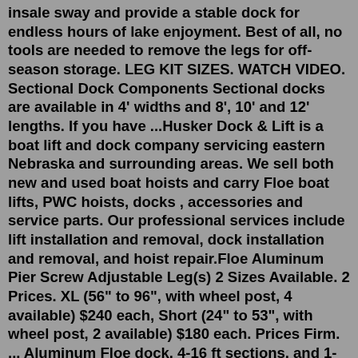insale sway and provide a stable dock for endless hours of lake enjoyment. Best of all, no tools are needed to remove the legs for off-season storage. LEG KIT SIZES. WATCH VIDEO. Sectional Dock Components Sectional docks are available in 4' widths and 8', 10' and 12' lengths. If you have ...Husker Dock & Lift is a boat lift and dock company servicing eastern Nebraska and surrounding areas. We sell both new and used boat hoists and carry Floe boat lifts, PWC hoists, docks , accessories and service parts. Our professional services include lift installation and removal, dock installation and removal, and hoist repair.Floe Aluminum Pier Screw Adjustable Leg(s) 2 Sizes Available. 2 Prices. XL (56" to 96", with wheel post, 4 available) $240 each, Short (24" to 53", with wheel post, 2 available) $180 each. Prices Firm. ... Aluminum Floe dock. 4-16 ft sections, and 1-8x16 ft end section with bench and ladder Price: City: Mankato, MN. Posted: 2 months ago ...2 days ago · Floe Aluminum Pier Screw Adjustable Legs 2 Sizes Available. 2 Prices. XL 56 to 96, with wheel